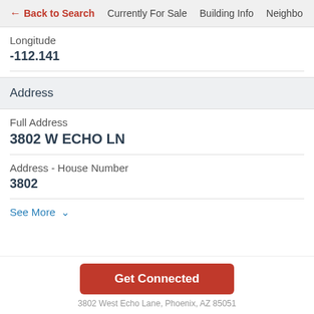← Back to Search   Currently For Sale   Building Info   Neighbo
Longitude
-112.141
Address
Full Address
3802 W ECHO LN
Address - House Number
3802
See More ∨
Get Connected
3802 West Echo Lane, Phoenix, AZ 85051